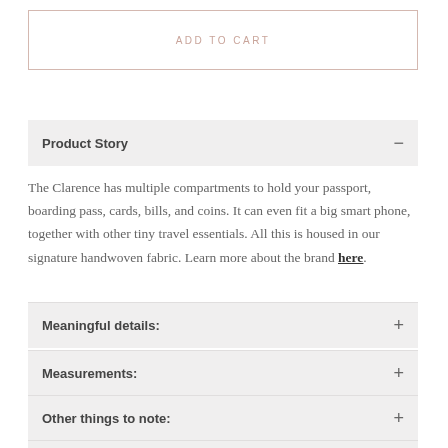ADD TO CART
Product Story
The Clarence has multiple compartments to hold your passport, boarding pass, cards, bills, and coins. It can even fit a big smart phone, together with other tiny travel essentials. All this is housed in our signature handwoven fabric. Learn more about the brand here.
Meaningful details:
Measurements:
Other things to note:
FAQs